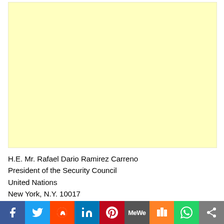[Figure (other): Large light yellow rectangle, likely an image placeholder or letterhead graphic area]
H.E. Mr. Rafael Dario Ramirez Carreno
President of the Security Council
United Nations
New York, N.Y. 10017
Excellency
[Figure (infographic): Social media sharing bar with icons for Facebook, Twitter, Reddit, LinkedIn, Pinterest, MeWe, Mix, WhatsApp, and a share button]